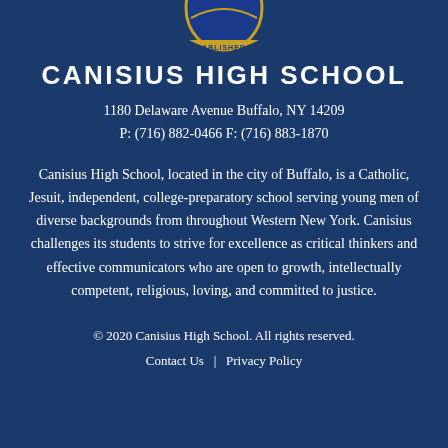[Figure (logo): Canisius High School seal/crest partially visible at top, gold and blue, showing 'ABLISHED' text on banner]
CANISIUS HIGH SCHOOL
1180 Delaware Avenue Buffalo, NY 14209
P: (716) 882-0466 F: (716) 883-1870
Canisius High School, located in the city of Buffalo, is a Catholic, Jesuit, independent, college-preparatory school serving young men of diverse backgrounds from throughout Western New York. Canisius challenges its students to strive for excellence as critical thinkers and effective communicators who are open to growth, intellectually competent, religious, loving, and committed to justice.
© 2020 Canisius High School. All rights reserved.
Contact Us | Privacy Policy